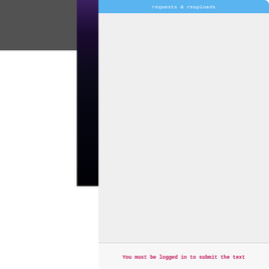[Figure (screenshot): Dark gray rectangle in the top-left of the page, part of a UI background]
[Figure (photo): Dark vertical photo strip showing a dark purple/black abstract image]
requests & reuploads
You must be logged in to submit the text